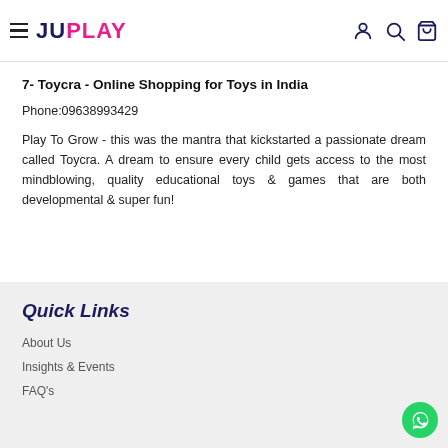JUPLAY — navigation header with hamburger menu, logo, user icon, search icon, cart icon
7- Toycra - Online Shopping for Toys in India
Phone:09638993429
Play To Grow - this was the mantra that kickstarted a passionate dream called Toycra. A dream to ensure every child gets access to the most mindblowing, quality educational toys & games that are both developmental & super fun!
Quick Links
About Us
Insights & Events
FAQ's